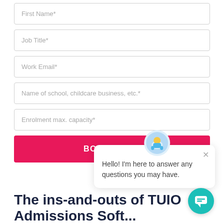First Name*
Job Title*
Work Email*
Name of school, childcare business, etc.*
Enrolment max. capacity*
BOOK DEMO
Hello! I'm here to answer any questions you may have.
The ins-and-outs of TUIO Admissions Soft...